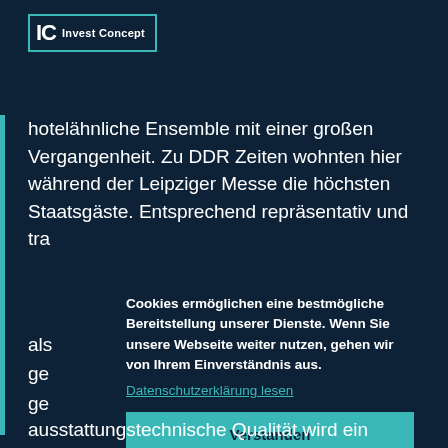[Figure (logo): IC Invest Concept logo — teal rectangle border with IC letters and 'Invest Concept' text]
hotelähnliche Ensemble mit einer großen Vergangenheit. Zu DDR Zeiten wohnten hier während der Leipziger Messe die höchsten Staatsgäste. Entsprechend repräsentativ und tra als ge ge
Cookies ermöglichen eine bestmögliche Bereitstellung unserer Dienste. Wenn Sie unsere Webseite weiter nutzen, gehen wir von Ihrem Einverständnis aus.
Datenschutzerklärung lesen
Verstanden
Die wir Ne da
ausstattungstechnische Qualität wird ein